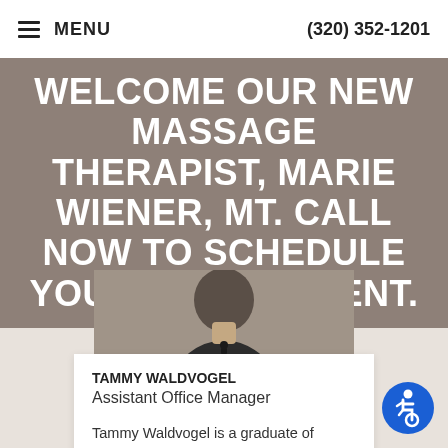≡ MENU    (320) 352-1201
WELCOME OUR NEW MASSAGE THERAPIST, MARIE WIENER, MT. CALL NOW TO SCHEDULE YOUR APPOINTMENT.
[Figure (photo): Photo of Tammy Waldvogel, a woman wearing a dark top with a name badge, cropped to show neck and torso]
TAMMY WALDVOGEL
Assistant Office Manager

Tammy Waldvogel is a graduate of Brainerd Technical College. She lives in Melrose and has two adult sons. When she's not behind the desk assistin...
[Figure (illustration): Blue circular accessibility icon showing wheelchair user symbol]